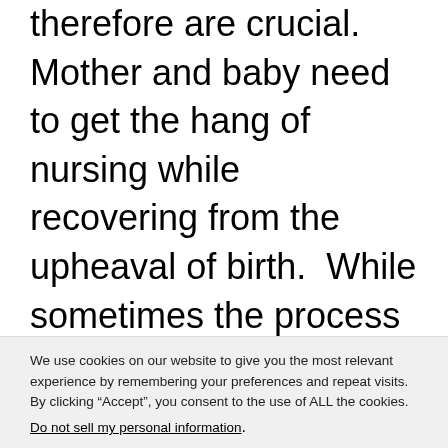therefore are crucial.  Mother and baby need to get the hang of nursing while recovering from the upheaval of birth.  While sometimes the process is easy, other times there are some challenges.

This list is meant to help moms with some of the most basic
We use cookies on our website to give you the most relevant experience by remembering your preferences and repeat visits. By clicking “Accept”, you consent to the use of ALL the cookies.
Do not sell my personal information.